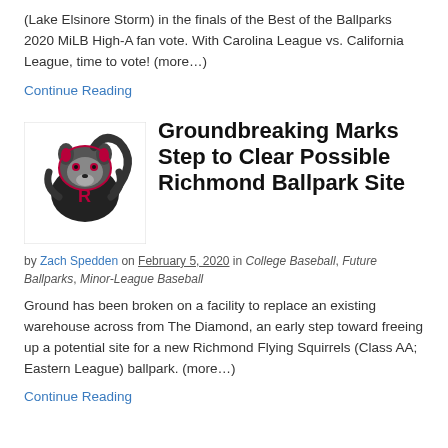(Lake Elsinore Storm) in the finals of the Best of the Ballparks 2020 MiLB High-A fan vote. With Carolina League vs. California League, time to vote! (more…)
Continue Reading
Groundbreaking Marks Step to Clear Possible Richmond Ballpark Site
by Zach Spedden on February 5, 2020 in College Baseball, Future Ballparks, Minor-League Baseball
Ground has been broken on a facility to replace an existing warehouse across from The Diamond, an early step toward freeing up a potential site for a new Richmond Flying Squirrels (Class AA; Eastern League) ballpark. (more…)
Continue Reading